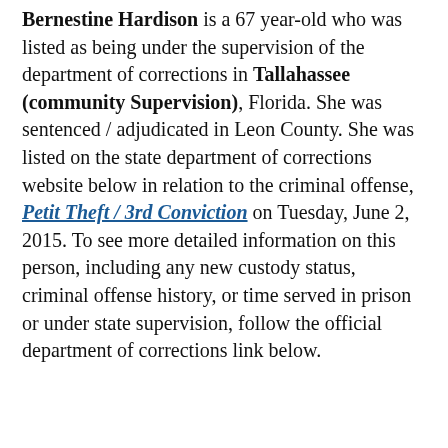Bernestine Hardison is a 67 year-old who was listed as being under the supervision of the department of corrections in Tallahassee (community Supervision), Florida. She was sentenced / adjudicated in Leon County. She was listed on the state department of corrections website below in relation to the criminal offense, Petit Theft / 3rd Conviction on Tuesday, June 2, 2015. To see more detailed information on this person, including any new custody status, criminal offense history, or time served in prison or under state supervision, follow the official department of corrections link below.